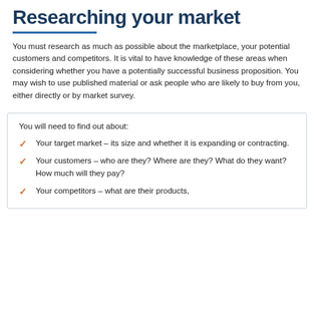Researching your market
You must research as much as possible about the marketplace, your potential customers and competitors. It is vital to have knowledge of these areas when considering whether you have a potentially successful business proposition. You may wish to use published material or ask people who are likely to buy from you, either directly or by market survey.
You will need to find out about:
Your target market – its size and whether it is expanding or contracting.
Your customers – who are they? Where are they? What do they want? How much will they pay?
Your competitors – what are their products,